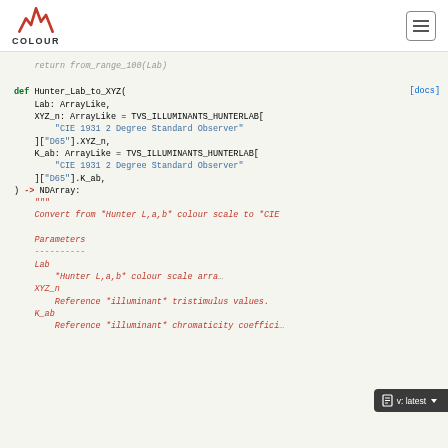COLOUR logo and navigation hamburger menu
return from_range_100(Lab)
def Hunter_Lab_to_XYZ(
    Lab: ArrayLike,
    XYZ_n: ArrayLike = TVS_ILLUMINANTS_HUNTERLAB[
        "CIE 1931 2 Degree Standard Observer"
    ]["D65"].XYZ_n,
    K_ab: ArrayLike = TVS_ILLUMINANTS_HUNTERLAB[
        "CIE 1931 2 Degree Standard Observer"
    ]["D65"].K_ab,
) -> NDArray:
    """
    Convert from *Hunter L,a,b* colour scale to *CIE

    Parameters
    ----------
    Lab
        *Hunter L,a,b* colour scale array
    XYZ_n
        Reference *illuminant* tristimulus values.
    K_ab
        Reference *illuminant* chromaticity coeffici
[docs]